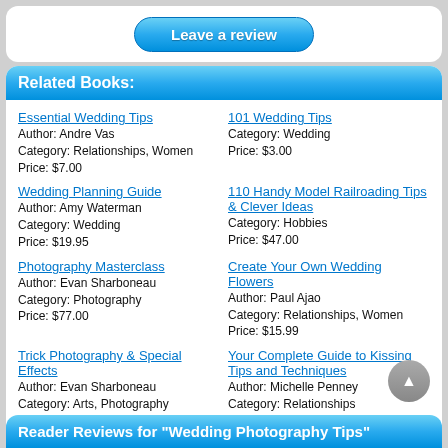Leave a review
Related Books:
Essential Wedding Tips
Author: Andre Vas
Category: Relationships, Women
Price: $7.00
101 Wedding Tips
Category: Wedding
Price: $3.00
Wedding Planning Guide
Author: Amy Waterman
Category: Wedding
Price: $19.95
110 Handy Model Railroading Tips & Clever Ideas
Category: Hobbies
Price: $47.00
Photography Masterclass
Author: Evan Sharboneau
Category: Photography
Price: $77.00
Create Your Own Wedding Flowers
Author: Paul Ajao
Category: Relationships, Women
Price: $15.99
Trick Photography & Special Effects
Author: Evan Sharboneau
Category: Arts, Photography
Price: $77.00
Your Complete Guide to Kissing Tips and Techniques
Author: Michelle Penney
Category: Relationships
Price: $37.00
Reader Reviews for "Wedding Photography Tips"